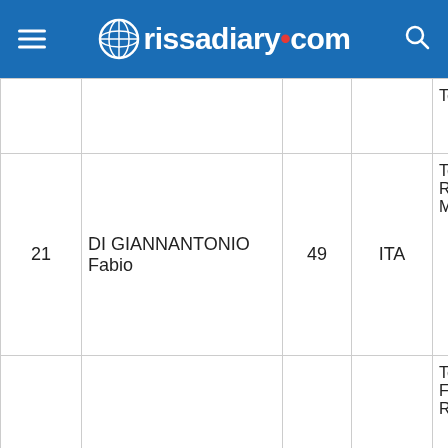rissadiary.com
| # | Name | Bike # | Nation | Team |
| --- | --- | --- | --- | --- |
|  |  |  |  | Team |
| 21 | DI GIANNANTONIO Fabio | 49 | ITA | Team Gresini Racing MotoGP |
| 22 | GARDNER Remy | 87 | AUS | Tech 3 KTM Factory Racing |
| 23 | FERNANDEZ Raul | 25 | SPA | Tech 3 KTM Factory Racing |
|  |  |  |  | WithU Yamaha |